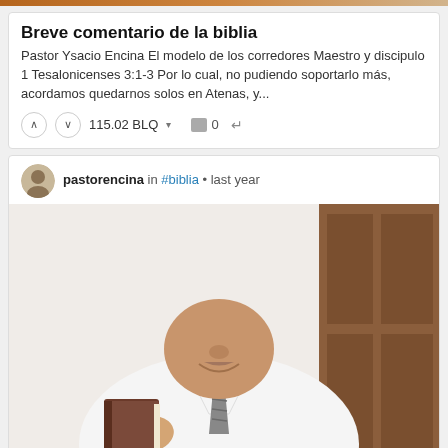Breve comentario de la biblia
Pastor Ysacio Encina El modelo de los corredores Maestro y discipulo 1 Tesalonicenses 3:1-3 Por lo cual, no pudiendo soportarlo más, acordamos quedarnos solos en Atenas, y...
115.02 BLQ ▾   □ 0   ↩
pastorencina in #biblia • last year
[Figure (photo): A man in a white dress shirt and gray tie holding a dark-covered book (Bible) in front of a white wall with a wooden door in the background. His face is partially visible from nose down, smiling.]